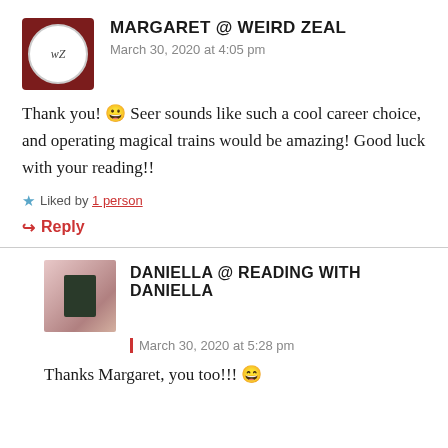MARGARET @ WEIRD ZEAL
March 30, 2020 at 4:05 pm
Thank you! 😀 Seer sounds like such a cool career choice, and operating magical trains would be amazing! Good luck with your reading!!
Liked by 1 person
Reply
DANIELLA @ READING WITH DANIELLA
March 30, 2020 at 5:28 pm
Thanks Margaret, you too!!! 😄